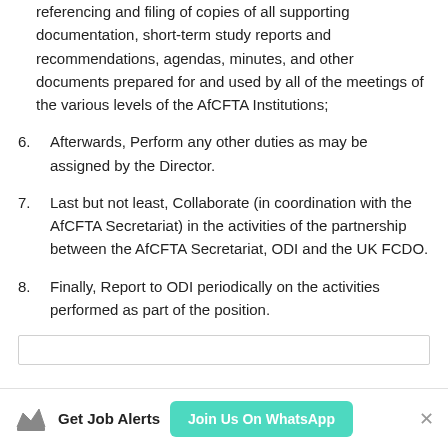referencing and filing of copies of all supporting documentation, short-term study reports and recommendations, agendas, minutes, and other documents prepared for and used by all of the meetings of the various levels of the AfCFTA Institutions;
6. Afterwards, Perform any other duties as may be assigned by the Director.
7. Last but not least, Collaborate (in coordination with the AfCFTA Secretariat) in the activities of the partnership between the AfCFTA Secretariat, ODI and the UK FCDO.
8. Finally, Report to ODI periodically on the activities performed as part of the position.
Get Job Alerts   Join Us On WhatsApp